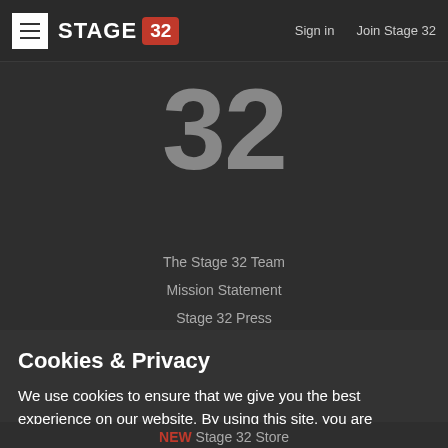≡ STAGE 32  Sign in  Join Stage 32
32
The Stage 32 Team
Mission Statement
Stage 32 Press
Cookies & Privacy
We use cookies to ensure that we give you the best experience on our website. By using this site, you are accepting our cookie policy
Accept Cookies
NEW Stage 32 Store